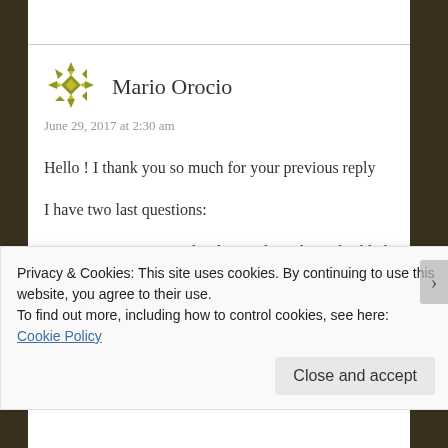[Figure (illustration): User avatar: olive/yellow-green geometric snowflake/star pattern avatar icon for Mario Orocio]
Mario Orocio
June 29, 2017 at 2:30 am
Hello ! I thank you so much for your previous reply
I have two last questions:
In your Position control video, Did you hava disabled the gps?
Privacy & Cookies: This site uses cookies. By continuing to use this website, you agree to their use.
To find out more, including how to control cookies, see here: Cookie Policy
Close and accept